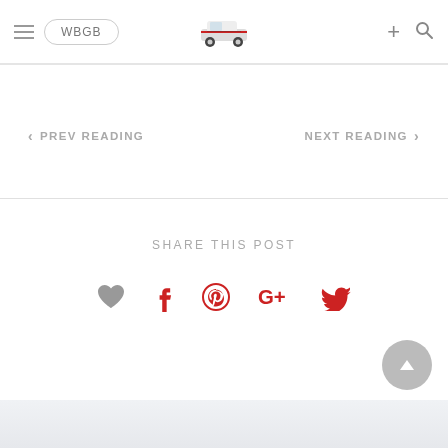WBGB | navigation header with car logo
‹ PREV READING
NEXT READING ›
SHARE THIS POST
Social share icons: heart, Facebook, Pinterest, Google+, Twitter